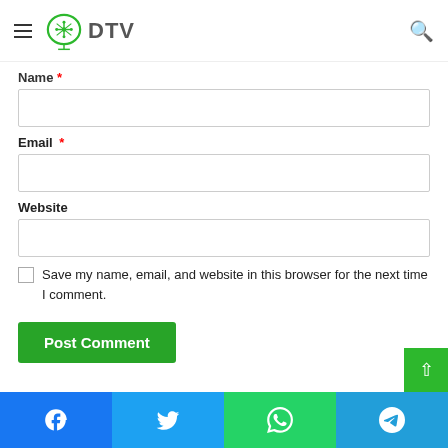[Figure (logo): DTV website logo with green brain circuit icon and DTV text]
Name *
Email *
Website
Save my name, email, and website in this browser for the next time I comment.
Post Comment
[Figure (infographic): Social sharing footer bar with Facebook, Twitter, WhatsApp, and Telegram icons]